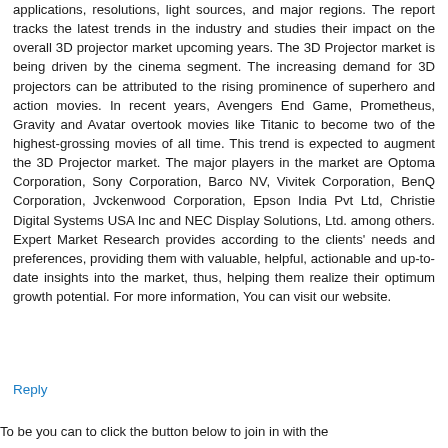applications, resolutions, light sources, and major regions. The report tracks the latest trends in the industry and studies their impact on the overall 3D projector market upcoming years. The 3D Projector market is being driven by the cinema segment. The increasing demand for 3D projectors can be attributed to the rising prominence of superhero and action movies. In recent years, Avengers End Game, Prometheus, Gravity and Avatar overtook movies like Titanic to become two of the highest-grossing movies of all time. This trend is expected to augment the 3D Projector market. The major players in the market are Optoma Corporation, Sony Corporation, Barco NV, Vivitek Corporation, BenQ Corporation, Jvckenwood Corporation, Epson India Pvt Ltd, Christie Digital Systems USA Inc and NEC Display Solutions, Ltd. among others. Expert Market Research provides according to the clients' needs and preferences, providing them with valuable, helpful, actionable and up-to-date insights into the market, thus, helping them realize their optimum growth potential. For more information, You can visit our website.
Reply
To be you can to click the button below to join in with...